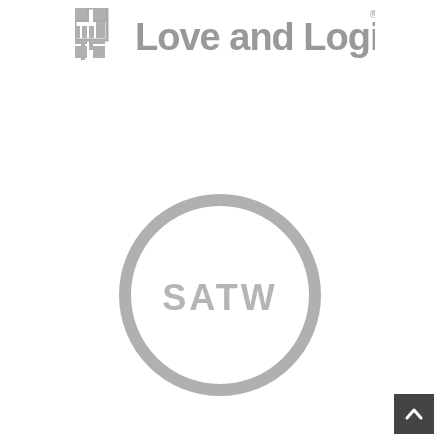[Figure (logo): Love and Logic logo: a square grid icon on the left and the text 'Love and Logic' in gray to the right, with a registered trademark symbol]
[Figure (logo): SATW circular logo: a large gray circle outline with the text 'SATW' inside in gray letters]
[Figure (other): Dark gray square button with an upward-pointing chevron arrow, positioned at the bottom-right corner of the page]